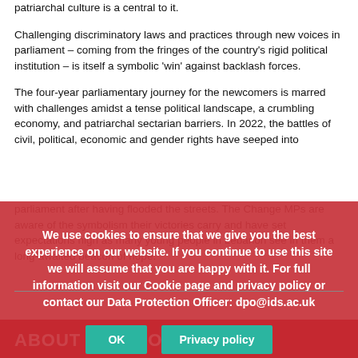patriarchal culture is a central to it.
Challenging discriminatory laws and practices through new voices in parliament – coming from the fringes of the country's rigid political institution – is itself a symbolic 'win' against backlash forces.
The four-year parliamentary journey for the newcomers is marred with challenges amidst a tense political landscape, a crumbling economy, and patriarchal sectarian barriers. In 2022, the battles of civil, political, economic and gender rights have seeped into parliament after having flooded the streets. The Change MPs are aware of the symbolism their victories carry and have set expectations high as many young people in Lebanon see in them a long-awaited beacon of hope.
We use cookies to ensure that we give you the best experience on our website. If you continue to use this site we will assume that you are happy with it. For full information visit our Cookie page and privacy policy or contact our Data Protection Officer: dpo@ids.ac.uk
ABOUT THIS POST